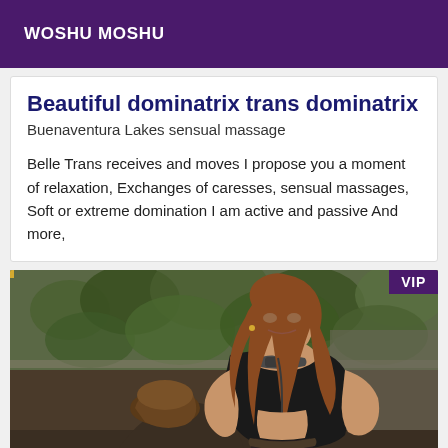WOSHU MOSHU
Beautiful dominatrix trans dominatrix
Buenaventura Lakes sensual massage
Belle Trans receives and moves I propose you a moment of relaxation, Exchanges of caresses, sensual massages, Soft or extreme domination I am active and passive And more,
[Figure (photo): Two women posing outdoors in an abandoned building with ivy on walls. One woman stands behind wearing a black crop top with a choker necklace and has long reddish-brown hair. Another woman is in the foreground. A purple VIP badge appears in the top right corner.]